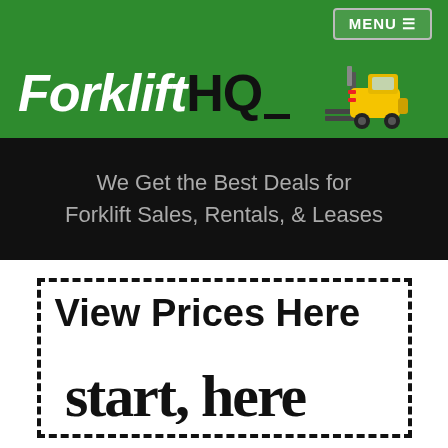MENU ≡
Forklift HQ
We Get the Best Deals for Forklift Sales, Rentals, & Leases
View Prices Here
start here